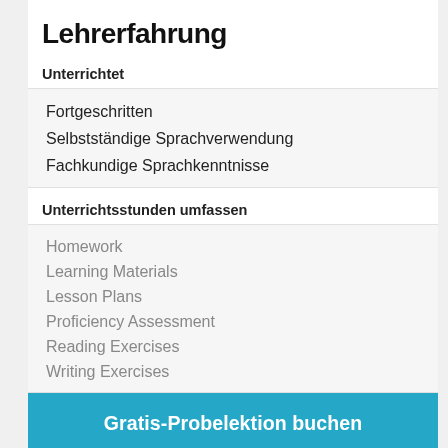Lehrerfahrung
Unterrichtet
Fortgeschritten
Selbstständige Sprachverwendung
Fachkundige Sprachkenntnisse
Unterrichtsstunden umfassen
Homework
Learning Materials
Lesson Plans
Proficiency Assessment
Reading Exercises
Writing Exercises
Gratis-Probelektion buchen
Business German